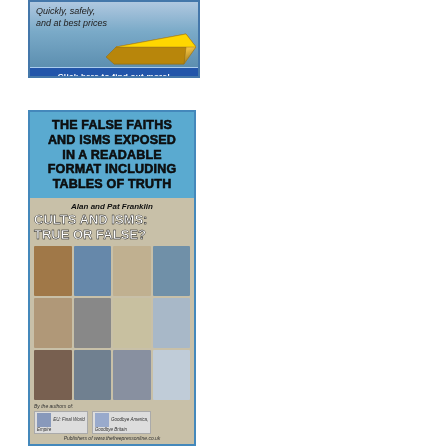[Figure (illustration): Advertisement banner: 'Quickly, safely, and at best prices' with gold bar image and blue 'Click here to find out more!' button]
[Figure (illustration): Book advertisement for 'Cults and Isms: True or False?' by Alan and Pat Franklin. Blue top section reads 'THE FALSE FAITHS AND ISMS EXPOSED IN A READABLE FORMAT INCLUDING TABLES OF TRUTH'. Lower section shows book cover with grid of religious building photos and footer referencing 'EU: Final World Empire' and 'Goodbye America, Goodbye Britain'. Publishers of www.thefreepressonline.co.uk]